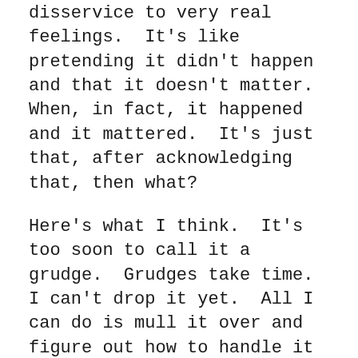disservice to very real feelings.  It's like pretending it didn't happen and that it doesn't matter.  When, in fact, it happened and it mattered.  It's just that, after acknowledging that, then what?
Here's what I think.  It's too soon to call it a grudge.  Grudges take time.  I can't drop it yet.  All I can do is mull it over and figure out how to handle it in a reasonable, honest way.  But before I get there, I simply have to feel bad.  Have to feel rotten before I can get over it.  Before it even merits being called a grudge.  Maybe it's this whole Protestant work ethic I was reared with: I always think you have to go through something before you can get over it.
God, sometimes I hate being a grownup.  Being a